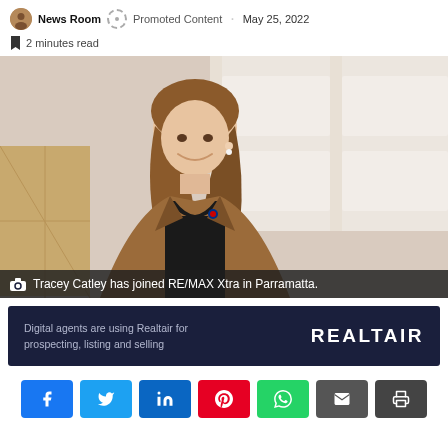News Room · Promoted Content · May 25, 2022
2 minutes read
[Figure (photo): Professional headshot of Tracey Catley, a woman with long brown hair wearing a brown blazer and black top, smiling, with a bright interior background]
Tracey Catley has joined RE/MAX Xtra in Parramatta.
[Figure (infographic): Dark navy advertisement banner: 'Digital agents are using Realtair for prospecting, listing and selling' with REALTAIR brand name on the right]
[Figure (infographic): Social share buttons row: Facebook (blue), Twitter (cyan), LinkedIn (blue), Pinterest (red), WhatsApp (green), Email (dark gray), Print (dark gray)]